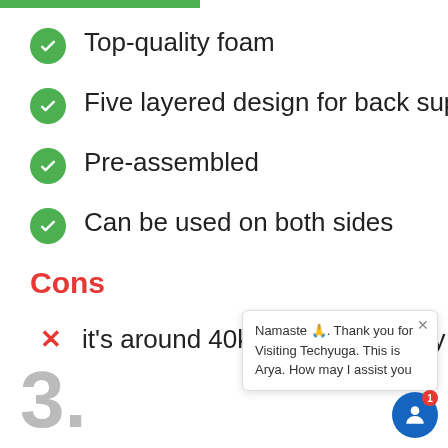Top-quality foam
Five layered design for back support
Pre-assembled
Can be used on both sides
Cons
it's around 40kgs and not easily moveable
Namaste 🙏. Thank you for Visiting Techyuga. This is Arya. How may I assist you
3.